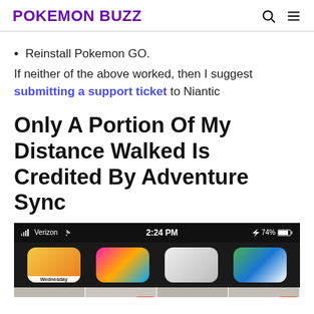POKEMON BUZZ
Reinstall Pokemon GO.
If neither of the above worked, then I suggest submitting a support ticket to Niantic
Only A Portion Of My Distance Walked Is Credited By Adventure Sync
[Figure (screenshot): iPhone screenshot showing Verizon 2:24 PM 74% status bar with app icons and photo grid showing 'After' and 'Swipe to decorate' overlays]